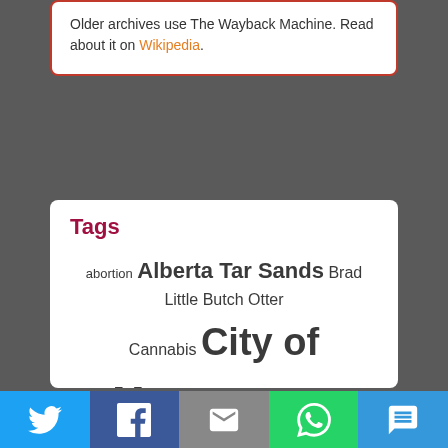Older archives use The Wayback Machine. Read about it on Wikipedia.
Tags
abortion Alberta Tar Sands Brad Little Butch Otter Cannabis City of Moscow City of Pullman Climate Change Corona Virus Crime Education Elections Environment Gay Rights Health Human Rights Idaho Legislature ITD Jay Inslee Kearl Oil Project Latah County Marijuana Megaloads Montana Moscow School District Oil Oregon Poli...